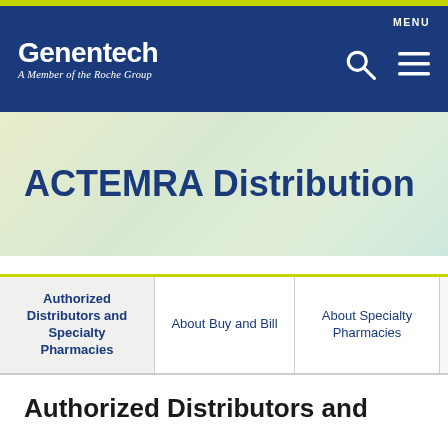Genentech — A Member of the Roche Group
ACTEMRA Distribution
| Authorized Distributors and Specialty Pharmacies | About Buy and Bill | About Specialty Pharmacies |  |
| --- | --- | --- | --- |
Authorized Distributors and